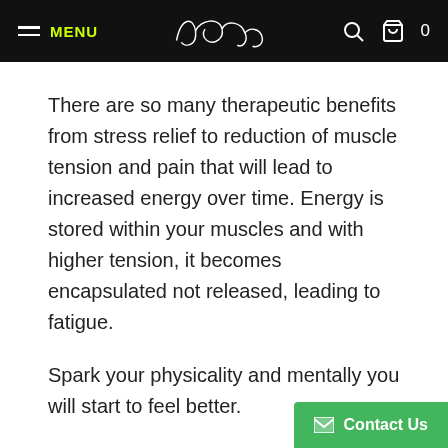MENU | [logo] | [search icon] [cart icon] 0
There are so many therapeutic benefits from stress relief to reduction of muscle tension and pain that will lead to increased energy over time. Energy is stored within your muscles and with higher tension, it becomes encapsulated not released, leading to fatigue.
Spark your physicality and mentally you will start to feel better.
Most Guru's out there will f…